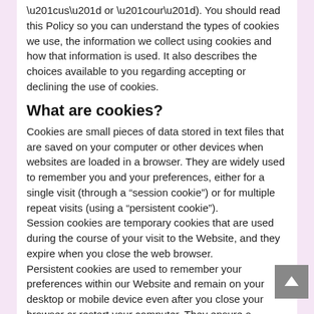(“us” or “our”). You should read this Policy so you can understand the types of cookies we use, the information we collect using cookies and how that information is used. It also describes the choices available to you regarding accepting or declining the use of cookies.
What are cookies?
Cookies are small pieces of data stored in text files that are saved on your computer or other devices when websites are loaded in a browser. They are widely used to remember you and your preferences, either for a single visit (through a “session cookie”) or for multiple repeat visits (using a “persistent cookie”).
Session cookies are temporary cookies that are used during the course of your visit to the Website, and they expire when you close the web browser.
Persistent cookies are used to remember your preferences within our Website and remain on your desktop or mobile device even after you close your browser or restart your computer. They ensure a consistent and efficient experience for you while visiting the Website and Services.
Cookies may be set by the Website (“first-party cookies”), or by third parties, such as those who serve content or provide advertising or analytics services on the Website (“third party cookies”). These third parties can recognize you when you visit our website and also when